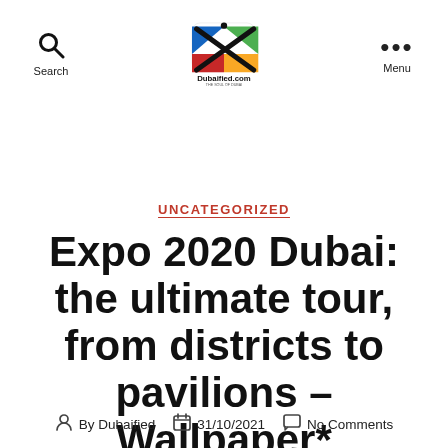Search | Dubaified.com | Menu
UNCATEGORIZED
Expo 2020 Dubai: the ultimate tour, from districts to pavilions – Wallpaper*
By Dubaified  31/10/2021  No Comments